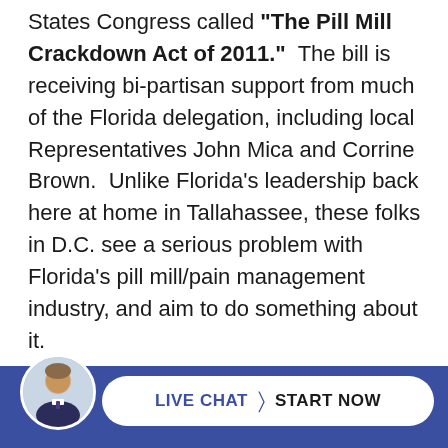States Congress called "The Pill Mill Crackdown Act of 2011." The bill is receiving bi-partisan support from much of the Florida delegation, including local Representatives John Mica and Corrine Brown. Unlike Florida's leadership back here at home in Tallahassee, these folks in D.C. see a serious problem with Florida's pill mill/pain management industry, and aim to do something about it.
Frequent visitors to this blog know that I have been posting about this issue for long time. Since taking office, Governor Rick Scott has seemed disinterested, and almost hostile to this issue…
[Figure (photo): Circular avatar photo of a man in a suit with dark hair, overlaid on a blue footer bar containing a 'LIVE CHAT > START NOW' pill-shaped button]